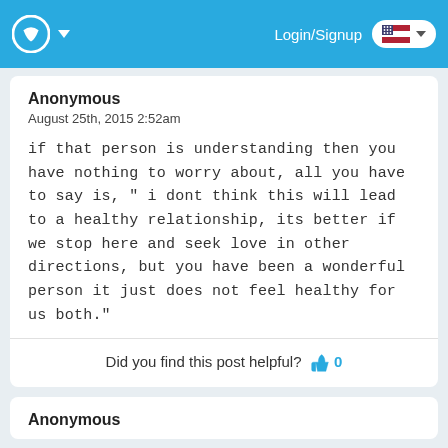Login/Signup
Anonymous
August 25th, 2015 2:52am
if that person is understanding then you have nothing to worry about, all you have to say is, " i dont think this will lead to a healthy relationship, its better if we stop here and seek love in other directions, but you have been a wonderful person it just does not feel healthy for us both."
Did you find this post helpful? 👍 0
Anonymous